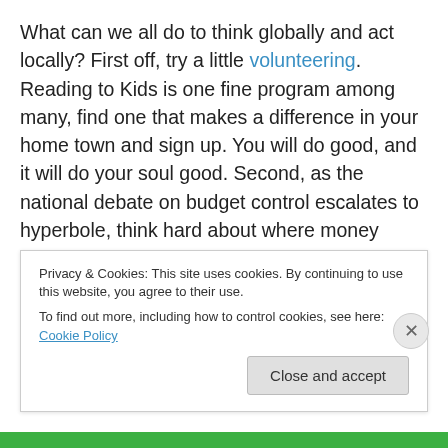What can we all do to think globally and act locally?  First off, try a little volunteering.  Reading to Kids is one fine program among many, find one that makes a difference in your home town and sign up.  You will do good, and it will do your soul good.  Second, as the national debate on budget control escalates to hyperbole, think hard about where money should be saved and invested, with an emphasis on the notion of capital that can provide a return on investment, where human capital is the most precious resource we can nurture.  Third, if you are investing in
Privacy & Cookies: This site uses cookies. By continuing to use this website, you agree to their use.
To find out more, including how to control cookies, see here: Cookie Policy